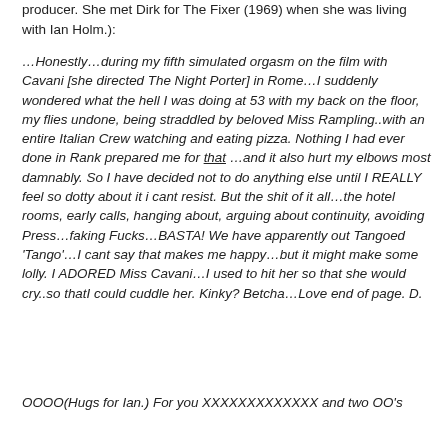producer. She met Dirk for The Fixer (1969) when she was living with Ian Holm.):
…Honestly…during my fifth simulated orgasm on the film with Cavani [she directed The Night Porter] in Rome…I suddenly wondered what the hell I was doing at 53 with my back on the floor, my flies undone, being straddled by beloved Miss Rampling..with an entire Italian Crew watching and eating pizza. Nothing I had ever done in Rank prepared me for that …and it also hurt my elbows most damnably. So I have decided not to do anything else until I REALLY feel so dotty about it i cant resist. But the shit of it all…the hotel rooms, early calls, hanging about, arguing about continuity, avoiding Press…faking Fucks…BASTA! We have apparently out Tangoed 'Tango'…I cant say that makes me happy…but it might make some lolly. I ADORED Miss Cavani…I used to hit her so that she would cry..so thatI could cuddle her. Kinky? Betcha…Love end of page. D.
OOOO(Hugs for Ian.) For you XXXXXXXXXXXXX and two OO's